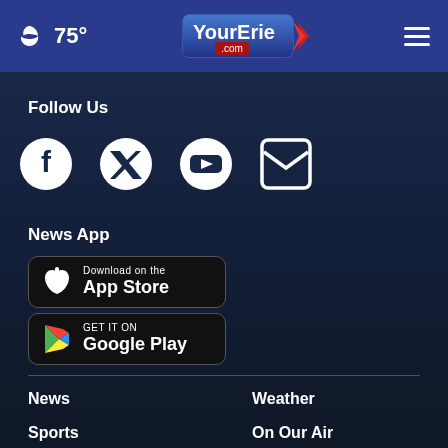🌙 75° YourErie.com ≡
Follow Us
[Figure (illustration): Social media icons: Facebook, Twitter, YouTube, Email]
News App
[Figure (illustration): Download on the App Store button]
[Figure (illustration): Get it on Google Play button]
News
Weather
Sports
On Our Air